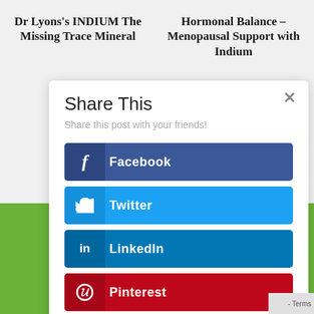Dr Lyons’s INDIUM The Missing Trace Mineral
Hormonal Balance – Menopausal Support with Indium
Share This
Share this post with your friends!
Facebook
Twitter
LinkedIn
Pinterest
Terms